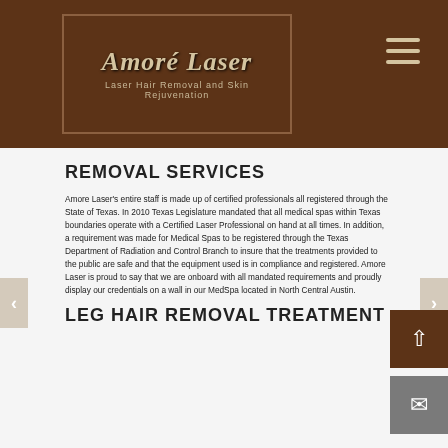[Figure (logo): Amoré Laser logo with text 'Laser Hair Removal and Skin Rejuvenation' on dark brown background]
REMOVAL SERVICES
Amore Laser's entire staff is made up of certified professionals all registered through the State of Texas. In 2010 Texas Legislature mandated that all medical spas within Texas boundaries operate with a Certified Laser Professional on hand at all times. In addition, a requirement was made for Medical Spas to be registered through the Texas Department of Radiation and Control Branch to insure that the treatments provided to the public are safe and that the equipment used is in compliance and registered. Amore Laser is proud to say that we are onboard with all mandated requirements and proudly display our credentials on a wall in our MedSpa located in North Central Austin.
LEG HAIR REMOVAL TREATMENT